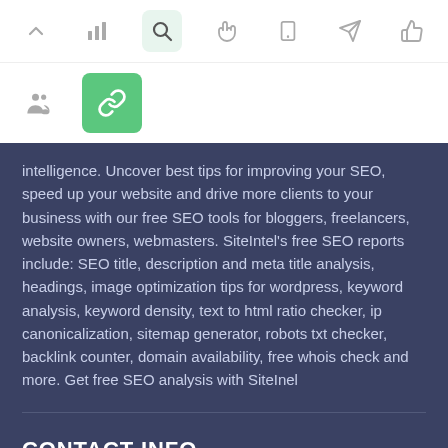[Figure (screenshot): Navigation bar with icons: up arrow, bar chart, search (active/highlighted), hand cursor, mobile phone, paper plane, thumbs up]
[Figure (screenshot): Second navigation row with people/group icon and a green link/chain icon badge (active)]
intelligence. Uncover best tips for improving your SEO, speed up your website and drive more clients to your business with our free SEO tools for bloggers, freelancers, website owners, webmasters. SiteIntel's free SEO reports include: SEO title, description and meta title analysis, headings, image optimization tips for wordpress, keyword analysis, keyword density, text to html ratio checker, ip canonicalization, sitemap generator, robots txt checker, backlink counter, domain availability, free whois check and more. Get free SEO analysis with SiteInel
CONTACT INFO